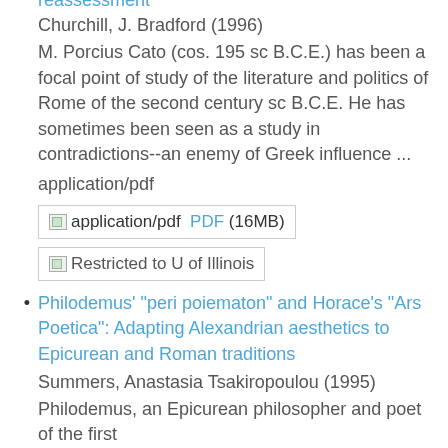reassessment (link, blue)
Churchill, J. Bradford (1996)
M. Porcius Cato (cos. 195 sc B.C.E.) has been a focal point of study of the literature and politics of Rome of the second century sc B.C.E. He has sometimes been seen as a study in contradictions--an enemy of Greek influence ...
application/pdf
[Figure (other): PDF download button box with icon and link 'PDF (16MB)']
[Figure (other): Restricted access box with icon and text 'Restricted to U of Illinois']
Philodemus' "peri poiematon" and Horace's "Ars Poetica": Adapting Alexandrian aesthetics to Epicurean and Roman traditions
Summers, Anastasia Tsakiropoulou (1995)
Philodemus, an Epicurean philosopher and poet of the first...